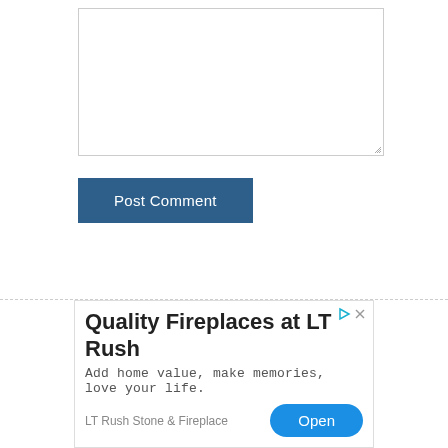[Figure (screenshot): A blank comment text area input box with a resize handle in the bottom-right corner]
[Figure (screenshot): A 'Post Comment' button with white text on a dark blue background]
[Figure (screenshot): An advertisement for LT Rush Stone & Fireplace with title 'Quality Fireplaces at LT Rush', subtitle 'Add home value, make memories, love your life.', brand name 'LT Rush Stone & Fireplace', an 'Open' button in blue, and ad controls (triangle/play icon and X close icon) in the top right corner]